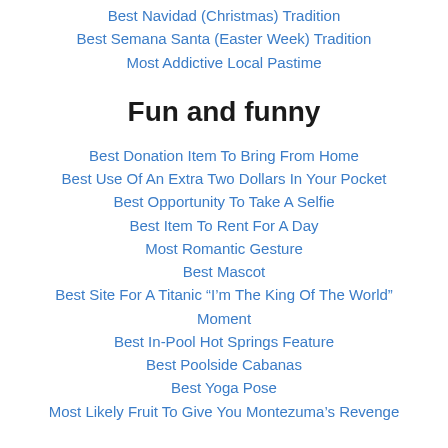Best Navidad (Christmas) Tradition
Best Semana Santa (Easter Week) Tradition
Most Addictive Local Pastime
Fun and funny
Best Donation Item To Bring From Home
Best Use Of An Extra Two Dollars In Your Pocket
Best Opportunity To Take A Selfie
Best Item To Rent For A Day
Most Romantic Gesture
Best Mascot
Best Site For A Titanic “I’m The King Of The World” Moment
Best In-Pool Hot Springs Feature
Best Poolside Cabanas
Best Yoga Pose
Most Likely Fruit To Give You Montezuma’s Revenge
Random and strange